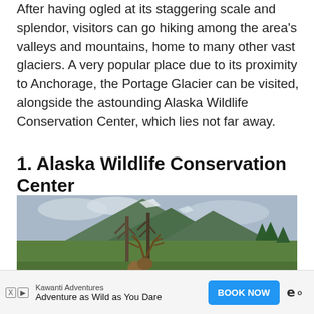After having ogled at its staggering scale and splendor, visitors can go hiking among the area's valleys and mountains, home to many other vast glaciers. A very popular place due to its proximity to Anchorage, the Portage Glacier can be visited, alongside the astounding Alaska Wildlife Conservation Center, which lies not far away.
1. Alaska Wildlife Conservation Center
[Figure (photo): Photo of elk with large antlers in a green meadow with dead trees and a mountain range in the background under a cloudy sky, at the Alaska Wildlife Conservation Center.]
Kawanti Adventures | Adventure as Wild as You Dare | BOOK NOW